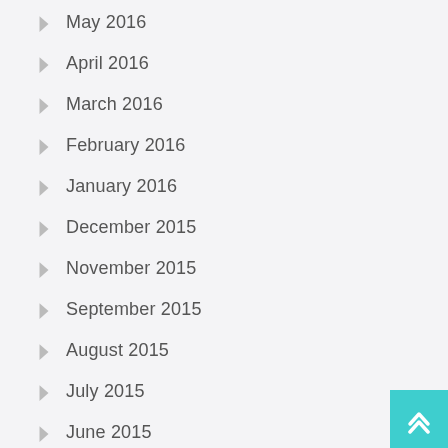May 2016
April 2016
March 2016
February 2016
January 2016
December 2015
November 2015
September 2015
August 2015
July 2015
June 2015
May 2015
April 2015